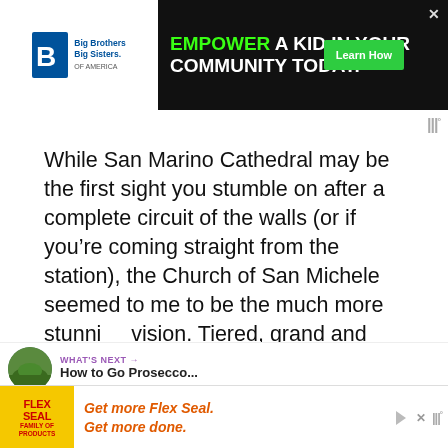[Figure (screenshot): Top banner advertisement: Big Brothers Big Sisters logo on left, black background ad with green 'EMPOWER A KID IN YOUR COMMUNITY TODAY.' text and green 'Learn How' button on right, with X close button]
[Figure (logo): Wunderkind logo (three vertical bars with degree symbol) in grey, top right]
While San Marino Cathedral may be the first sight you stumble on after a complete circuit of the walls (or if you’re coming straight from the station), the Church of San Michele seemed to me to be the much more stunning vision. Tiered, grand and showing-off in every way, this church was apparently designed to look good from every angle.
[Figure (screenshot): Social sidebar with heart/like button (red circle), count '2', and share button (grey circle with share icon)]
[Figure (screenshot): WHAT'S NEXT navigation bar with circular thumbnail of green hills, label 'WHAT'S NEXT →' in purple, and title 'How to Go Prosecco...']
[Figure (photo): Next article preview image showing grey/blue cloudy sky over landscape]
[Figure (screenshot): Bottom banner advertisement: Flex Seal yellow logo on left, orange italic text 'Get more Flex Seal. Get more done.' with play/close controls and Wunderkind logo on right]